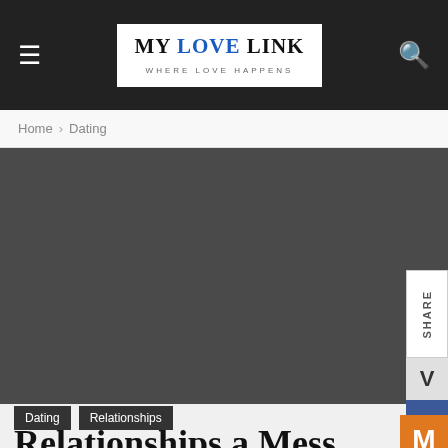MY LOVE LINK — WHERE LOVE HAPPENS
Home › Dating
[Figure (photo): Dark gray placeholder hero image for article]
Dating
Relationships
Relationships a Mess Worth